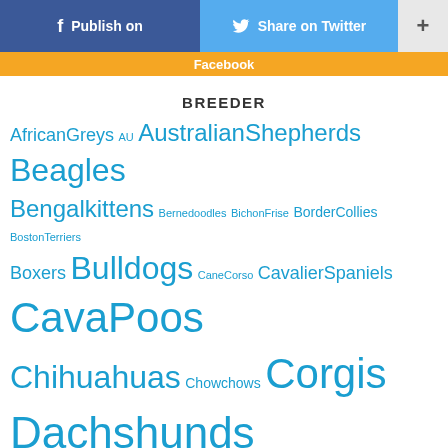[Figure (screenshot): Social share buttons: Publish on Facebook (blue), Share on Twitter (light blue), and a plus button (gray)]
Facebook
BREEDER
AfricanGreys AU AustralianShepherds Beagles Bengalkittens Bernedoodles BichonFrise BorderCollies BostonTerriers Boxers Bulldogs CaneCorso CavalierSpaniels CavaPoos Chihuahuas Chowchows Corgis Dachshunds DoberMans EnglishBulldogs FrenchBulldogs GermanShepherds GoldenDoodles GoldenRetrievers GreatDanes Havanese Huskys Kittens LabraDoodle Labradors MaineCoons Maltese Maltipoo PitBulls Pomeranians Poodles Pugs Rottweilers Samoyeds Schnauzers Shihheimz Shihtzu SphynxKittens